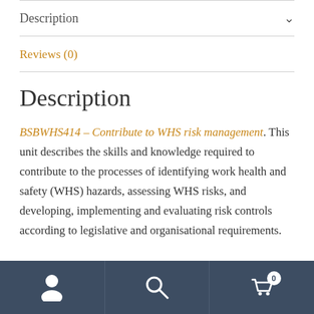Description
Reviews (0)
Description
BSBWHS414 – Contribute to WHS risk management. This unit describes the skills and knowledge required to contribute to the processes of identifying work health and safety (WHS) hazards, assessing WHS risks, and developing, implementing and evaluating risk controls according to legislative and organisational requirements.